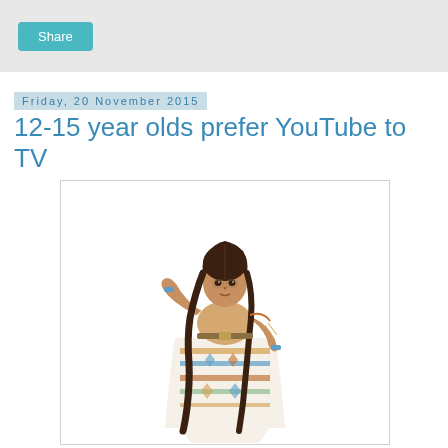Share
Friday, 20 November 2015
12-15 year olds prefer YouTube to TV
[Figure (illustration): 3D rendered illustration of a young woman in Native American traditional dress with long braided dark hair, wearing a white decorated dress with colorful geometric patterns, turquoise jewelry, raising one hand.]